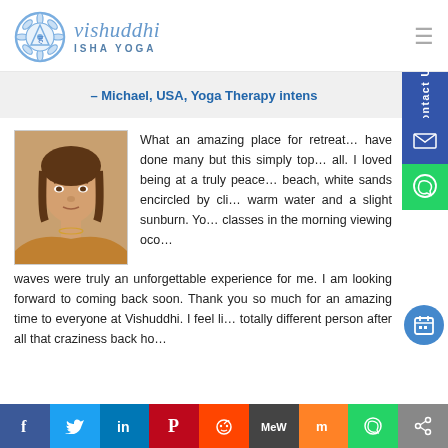[Figure (logo): Vishuddhi Isha Yoga logo with blue mandala/chakra icon and stylized text]
– Michael, USA, Yoga Therapy intens…
[Figure (photo): Headshot photo of a woman with brown hair wearing an orange/yellow top]
What an amazing place for retreat… have done many but this simply top… all. I loved being at a truly peace… beach, white sands encircled by cli… warm water and a slight sunburn. Yo… classes in the morning viewing oco… waves were truly an unforgettable experience for me. I am looking forward to coming back soon. Thank you so much for an amazing time to everyone at Vishuddhi. I feel like a totally different person after all that craziness back ho…